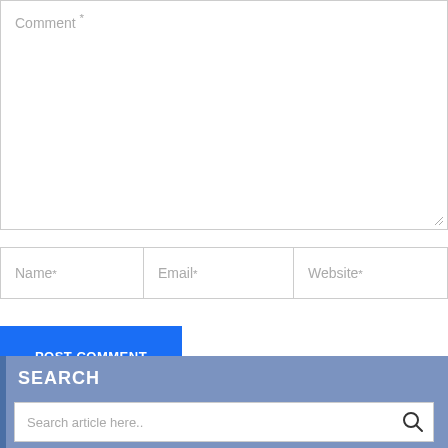Comment *
Name *
Email *
Website *
POST COMMENT
SEARCH
Search article here..